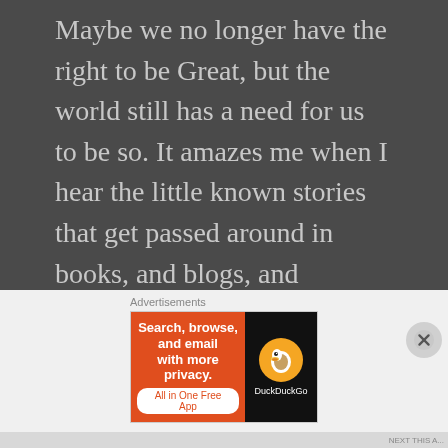Maybe we no longer have the right to be Great, but the world still has a need for us to be so. It amazes me when I hear the little known stories that get passed around in books, and blogs, and articles, that not a lot pf people read, but they're so inspiring. The best deeds may be the ones hardly anyone knows about.
Advertisements
[Figure (other): DuckDuckGo advertisement banner: orange left panel with text 'Search, browse, and email with more privacy.' and 'All in One Free App' pill button; black right panel with DuckDuckGo duck logo and brand name.]